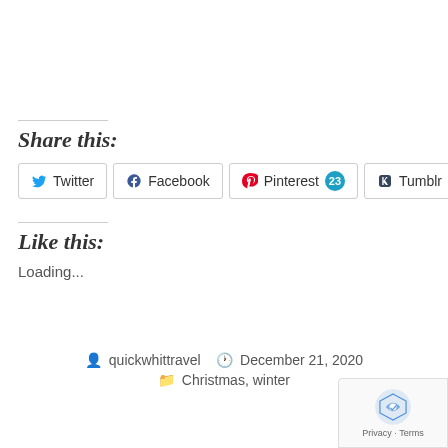Share this:
Twitter
Facebook
Pinterest 23
Tumblr
Like this:
Loading...
quickwhittravel  December 21, 2020  Christmas, winter